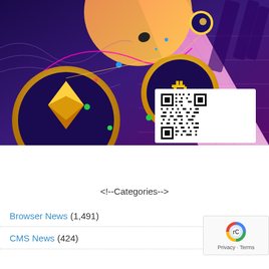[Figure (illustration): Colorful cryptocurrency illustration featuring Bitcoin coin with 'B' symbol, EOS coin with diamond logo, another small crypto coin, all on a purple/pink futuristic background with geometric shapes and a QR code in the bottom right corner.]
<!--Categories-->
Browser News (1,491)
CMS News (424)